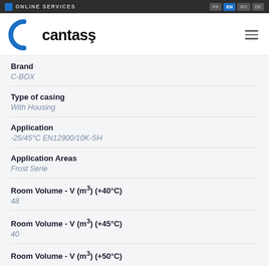ONLINE SERVICES  FR  EN  RO  DE
[Figure (logo): Cantaş logo with blue C letter and bold black text 'cantaş']
Brand
C-BOX
Type of casing
With Housing
Application
-25/45°C EN12900/10K-SH
Application Areas
Frost Serie
Room Volume - V (m³) (+40°C)
48
Room Volume - V (m³) (+45°C)
40
Room Volume - V (m³) (+50°C)